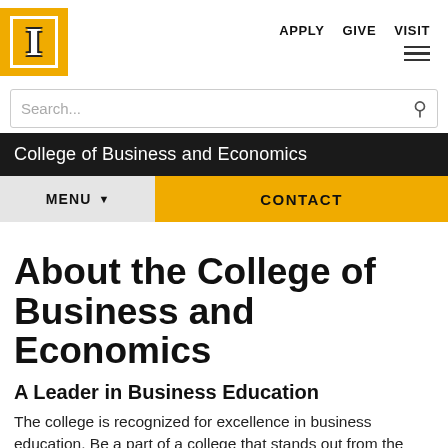APPLY   GIVE   VISIT
[Figure (logo): University of Idaho block I logo in gold with white letter I]
Search...
College of Business and Economics
MENU ▼   CONTACT
About the College of Business and Economics
A Leader in Business Education
The college is recognized for excellence in business education. Be a part of a college that stands out from the rest, and impress employers with a degree from the College of Business and Economics at the